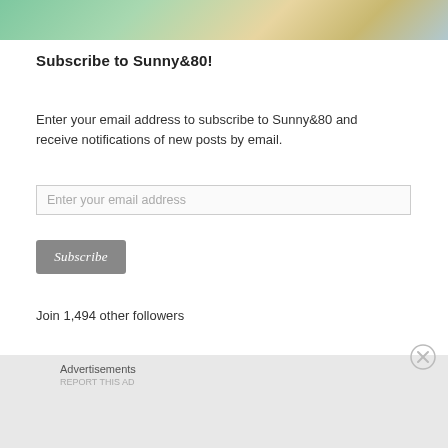[Figure (photo): Partial photo strip at top showing colorful knit fabric and blonde hair]
Subscribe to Sunny&80!
Enter your email address to subscribe to Sunny&80 and receive notifications of new posts by email.
Enter your email address
Subscribe
Join 1,494 other followers
Advertisements